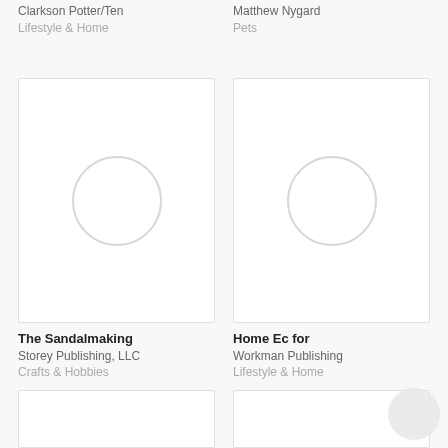Clarkson Potter/Ten
Lifestyle & Home
Matthew Nygard
Pets
[Figure (illustration): Book cover placeholder with circular loading indicator - The Sandalmaking]
[Figure (illustration): Book cover placeholder with circular loading indicator - Home Ec for]
The Sandalmaking
Storey Publishing, LLC
Crafts & Hobbies
Home Ec for
Workman Publishing
Lifestyle & Home
[Figure (illustration): Partial book cover placeholder at bottom left]
[Figure (illustration): Partial book cover placeholder at bottom right]